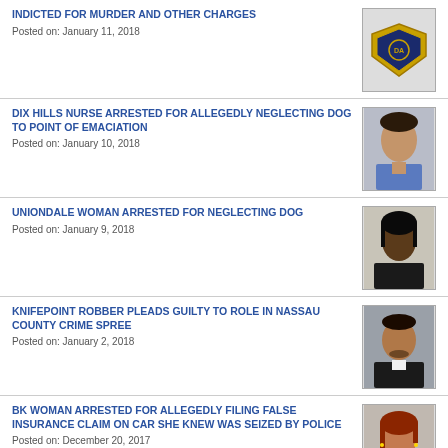INDICTED FOR MURDER AND OTHER CHARGES
Posted on: January 11, 2018
DIX HILLS NURSE ARRESTED FOR ALLEGEDLY NEGLECTING DOG TO POINT OF EMACIATION
Posted on: January 10, 2018
UNIONDALE WOMAN ARRESTED FOR NEGLECTING DOG
Posted on: January 9, 2018
KNIFEPOINT ROBBER PLEADS GUILTY TO ROLE IN NASSAU COUNTY CRIME SPREE
Posted on: January 2, 2018
BK WOMAN ARRESTED FOR ALLEGEDLY FILING FALSE INSURANCE CLAIM ON CAR SHE KNEW WAS SEIZED BY POLICE
Posted on: December 20, 2017